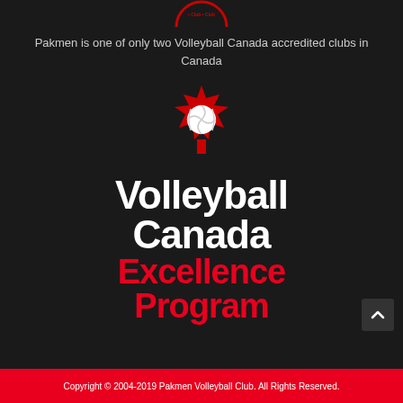[Figure (logo): Pakmen Volleyball Club circular logo partially visible at top]
Pakmen is one of only two Volleyball Canada accredited clubs in Canada
[Figure (logo): Volleyball Canada Excellence Program logo: red maple leaf with white volleyball, bold white text 'Volleyball Canada' and red bold text 'Excellence Program']
Copyright © 2004-2019 Pakmen Volleyball Club. All Rights Reserved.